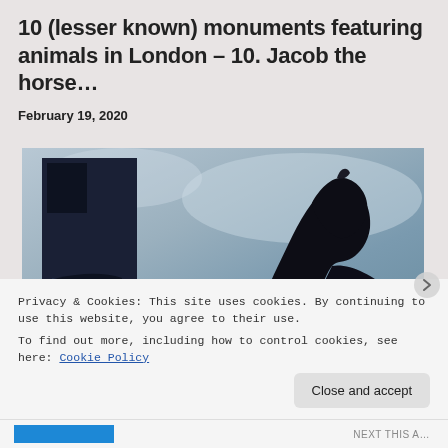10 (lesser known) monuments featuring animals in London – 10. Jacob the horse…
February 19, 2020
[Figure (photo): Low-angle upward view of a dark bronze horse statue head and neck silhouetted against a pale blue-grey sky, with a dark building visible on the left side.]
Privacy & Cookies: This site uses cookies. By continuing to use this website, you agree to their use.
To find out more, including how to control cookies, see here: Cookie Policy
Close and accept